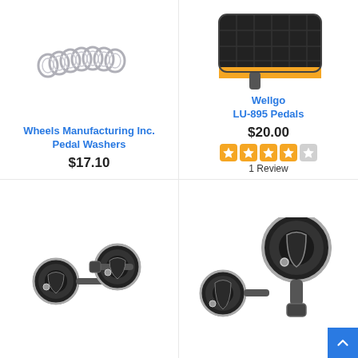[Figure (photo): Pile of silver metal pedal washers rings linked together]
Wheels Manufacturing Inc.
Pedal Washers
$17.10
[Figure (photo): Black plastic Wellgo LU-895 bicycle pedal with orange reflector strip]
Wellgo
LU-895 Pedals
$20.00
1 Review
[Figure (photo): Two black and silver clipless bicycle pedals with threaded spindles]
[Figure (photo): Black and silver clipless bicycle pedals with spindle, close-up view]